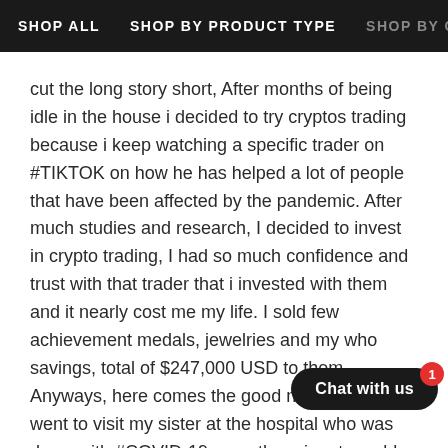SHOP ALL   SHOP BY PRODUCT TYPE   SHOP BY COL
cut the long story short, After months of being idle in the house i decided to try cryptos trading because i keep watching a specific trader on #TIKTOK on how he has helped a lot of people that have been affected by the pandemic. After much studies and research, I decided to invest in crypto trading, I had so much confidence and trust with that trader that i invested with them and it nearly cost me my life. I sold few achievement medals, jewelries and my who savings, total of $247,000 USD to them. Anyways, here comes the good news, when i went to visit my sister at the hospital who was down with #COVID-19, over there i met an old friend whom i narrated my whole ordeal, luckily for me he introduced me to gentle and honest licensed-hacker that was able to trace those scammers who connected me to recover my funds for me. Honestly, i do it or whatsoever, I dont care, All that m that Mr Joel Nathan gave me my lost life back and the amazing